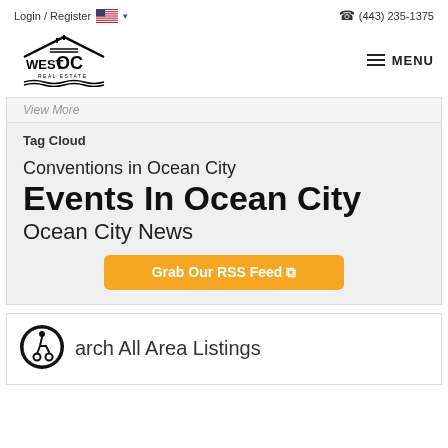Login / Register  (443) 235-1375
[Figure (logo): West OC Real Estate logo with house roofline and wave design]
View More
Tag Cloud
Conventions in Ocean City
Events In Ocean City
Ocean City News
Grab Our RSS Feed
arch All Area Listings